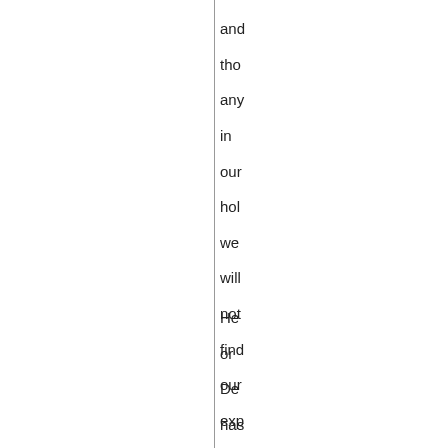and tho any in our hol we will not find our exp any oth tha our Lov Wi: Ete Na
He or De has h